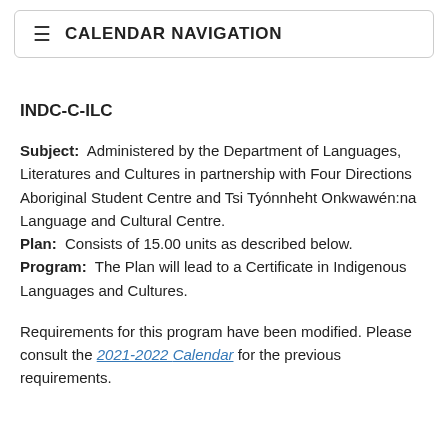≡  CALENDAR NAVIGATION
INDC-C-ILC
Subject:  Administered by the Department of Languages, Literatures and Cultures in partnership with Four Directions Aboriginal Student Centre and Tsi Tyónnheht Onkwawén:na Language and Cultural Centre.
Plan:  Consists of 15.00 units as described below.
Program:  The Plan will lead to a Certificate in Indigenous Languages and Cultures.
Requirements for this program have been modified. Please consult the 2021-2022 Calendar for the previous requirements.